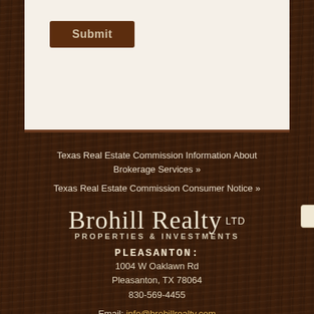Submit
« Back to Listings
Texas Real Estate Commission Information About Brokerage Services »
Texas Real Estate Commission Consumer Notice »
[Figure (logo): Brohill Realty LTD - Properties & Investments logo in script and sans-serif text on dark wood background]
PLEASANTON:
1004 W Oaklawn Rd
Pleasanton, TX 78064
830-569-4455
Email: info@brohillrealty.com